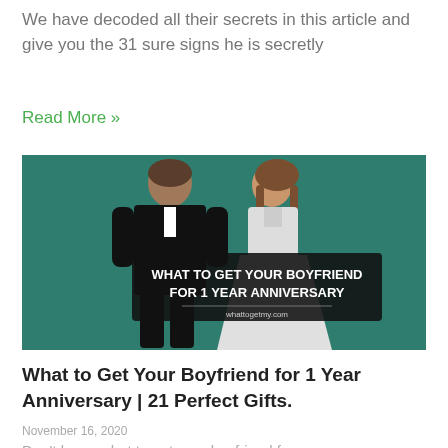We have decoded all their secrets in this article and give you the 31 sure signs he is secretly
Read More »
[Figure (illustration): Illustrated couple on teal background with text overlay: WHAT TO GET YOUR BOYFRIEND FOR 1 YEAR ANNIVERSARY, whattogetmy.com]
What to Get Your Boyfriend for 1 Year Anniversary | 21 Perfect Gifts.
November 16, 2020
Don't know what to get your boyfriend for a on...